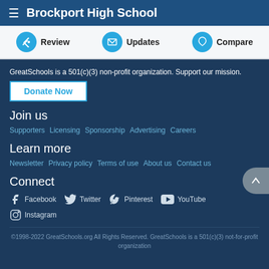Brockport High School
Review  Updates  Compare
GreatSchools is a 501(c)(3) non-profit organization. Support our mission.
Donate Now
Join us
Supporters   Licensing   Sponsorship   Advertising   Careers
Learn more
Newsletter   Privacy policy   Terms of use   About us   Contact us
Connect
Facebook   Twitter   Pinterest   YouTube   Instagram
©1998-2022 GreatSchools.org All Rights Reserved. GreatSchools is a 501(c)(3) not-for-profit organization